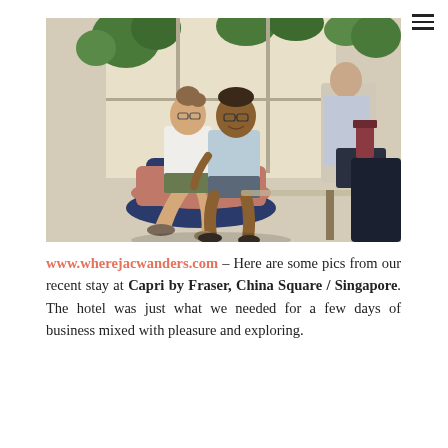[Figure (photo): Two people sitting in modern chairs in a bright hotel lounge with large windows and green plants. A woman with glasses leans toward a man who is smiling. Another person is visible in the background through a glass partition.]
www.wherejacwanders.com – Here are some pics from our recent stay at Capri by Fraser, China Square / Singapore. The hotel was just what we needed for a few days of business mixed with pleasure and exploring.